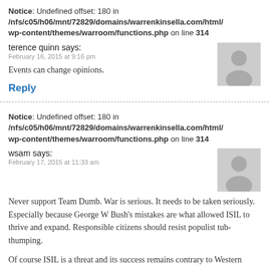Notice: Undefined offset: 180 in /nfs/c05/h06/mnt/72829/domains/warrenkinsella.com/html/wp-content/themes/warroom/functions.php on line 314
terence quinn says:
February 16, 2015 at 9:16 pm
Events can change opinions.
Reply
Notice: Undefined offset: 180 in /nfs/c05/h06/mnt/72829/domains/warrenkinsella.com/html/wp-content/themes/warroom/functions.php on line 314
wsam says:
February 17, 2015 at 11:33 am
Never support Team Dumb. War is serious. It needs to be taken seriously. Especially because George W Bush’s mistakes are what allowed ISIL to thrive and expand. Responsible citizens should resist populist tub-thumping.
Of course ISIL is a threat and its success remains contrary to Western Interests. But. What is the plan? What is the plan to not make the situation worse. The Americans clearly do not have a plan. They are bombing because they lack other options and